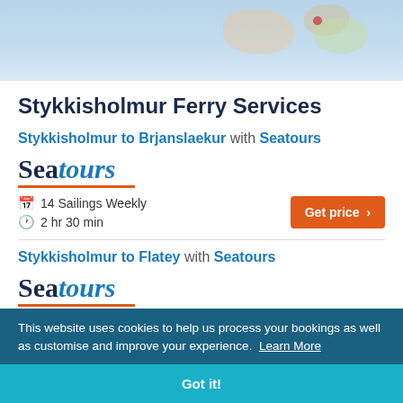[Figure (map): Partial map showing blue water/sea area with land masses and a red dot marker]
Stykkisholmur Ferry Services
Stykkisholmur to Brjanslaekur with Seatours
[Figure (logo): Seatours logo with serif text and orange underline]
14 Sailings Weekly
2 hr 30 min
Stykkisholmur to Flatey with Seatours
[Figure (logo): Seatours logo with serif text and orange underline]
14 Sailings Weekly
1 hr 30 min
This website uses cookies to help us process your bookings as well as customise and improve your experience. Learn More
Got it!